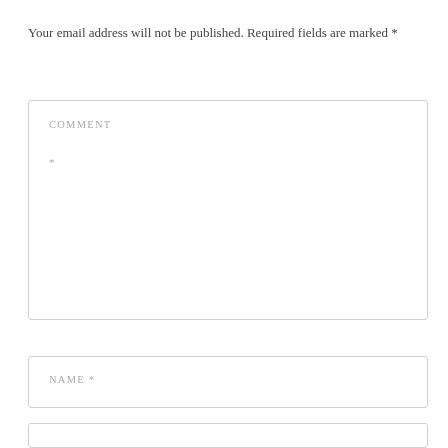Your email address will not be published. Required fields are marked *
COMMENT
*
NAME *